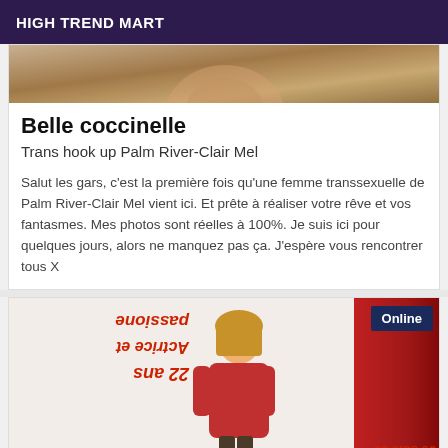HIGH TREND MART
[Figure (photo): Partial photo of a person, cropped at the top of the card]
Belle coccinelle
Trans hook up Palm River-Clair Mel
Salut les gars, c'est la première fois qu'une femme transsexuelle de Palm River-Clair Mel vient ici. Et prête à réaliser votre rêve et vos fantasmes. Mes photos sont réelles à 100%. Je suis ici pour quelques jours, alors ne manquez pas ça. J'espère vous rencontrer tous X
[Figure (photo): Photo of a person in a red sweater in a room with red curtains and mirrored/reversed red text on the wall. An 'Online' badge is shown in the top-right corner.]